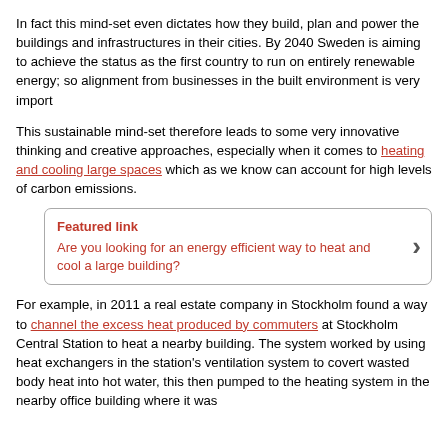In fact this mind-set even dictates how they build, plan and power the buildings and infrastructures in their cities. By 2040 Sweden is aiming to achieve the status as the first country to run on entirely renewable energy; so alignment from businesses in the built environment is very import
This sustainable mind-set therefore leads to some very innovative thinking and creative approaches, especially when it comes to heating and cooling large spaces which as we know can account for high levels of carbon emissions.
Featured link
Are you looking for an energy efficient way to heat and cool a large building?
For example, in 2011 a real estate company in Stockholm found a way to channel the excess heat produced by commuters at Stockholm Central Station to heat a nearby building. The system worked by using heat exchangers in the station's ventilation system to covert wasted body heat into hot water, this then pumped to the heating system in the nearby office building where it was —